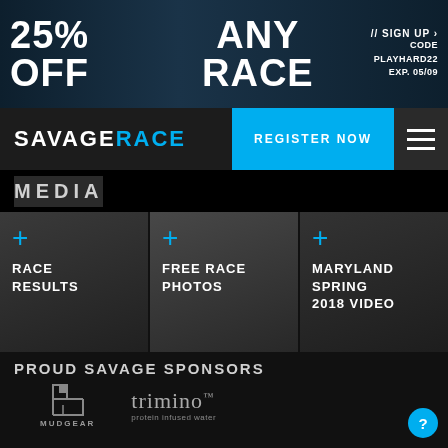[Figure (infographic): Dark blue promotional banner with woman athlete photo in background. Text reads: 25% OFF on the left, ANY RACE in the center, // SIGN UP > and CODE PLAYHARD22 EXP. 05/09 on the right.]
[Figure (screenshot): Navigation bar with SAVAGERACE logo on left, REGISTER NOW blue button in center-right, and hamburger menu icon on far right.]
MEDIA
[Figure (infographic): Three-column media card grid. Column 1: + RACE RESULTS, Read More. Column 2: + FREE RACE PHOTOS, Read More. Column 3: + MARYLAND SPRING 2018 VIDEO, Play. Each column has a dark athlete photo background.]
PROUD SAVAGE SPONSORS
[Figure (logo): MudGear logo: geometric icon above MUDGEAR text in grey.]
[Figure (logo): trimino protein infused water logo in grey serif font.]